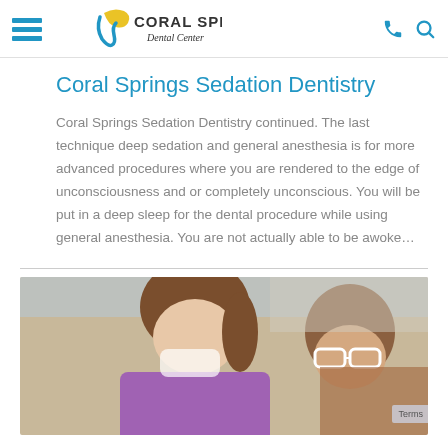Coral Springs Dental Center
Coral Springs Sedation Dentistry
Coral Springs Sedation Dentistry continued.  The last technique deep sedation and general anesthesia is for more advanced procedures where you are rendered to the edge of unconsciousness and or completely unconscious.  You will be put in a deep sleep for the dental procedure while using general anesthesia.  You are not actually able to be awoke…
[Figure (photo): Two dental professionals in a dental office, one with hair pulled back and wearing purple scrubs, the other wearing white-framed safety glasses, both leaning over a patient]